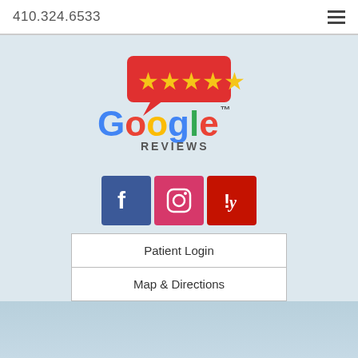410.324.6533
[Figure (logo): Google Reviews logo with 5 gold stars in a red speech bubble above the Google wordmark and 'REVIEWS' text]
[Figure (infographic): Social media icons row: Facebook (blue), Instagram (pink/red), Yelp (red)]
Patient Login
Map & Directions
Snoring & Sleep